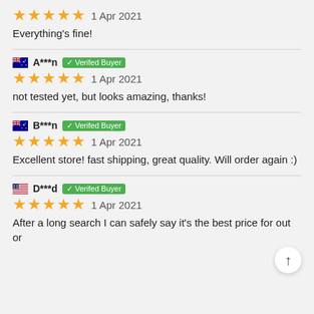★★★★★  1 Apr 2021
Everything's fine!
🇦🇺 A***n  ✓ Verifed Buyer
★★★★★  1 Apr 2021
not tested yet, but looks amazing, thanks!
🇦🇺 B***n  ✓ Verifed Buyer
★★★★★  1 Apr 2021
Excellent store! fast shipping, great quality. Will order again :)
🇺🇸 D***d  ✓ Verifed Buyer
★★★★★  1 Apr 2021
After a long search I can safely say it's the best price for out or